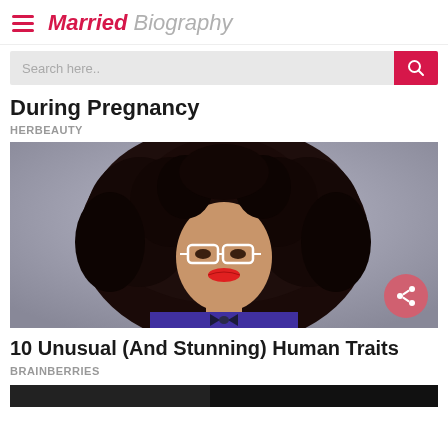Married Biography
Search here..
During Pregnancy
HERBEAUTY
[Figure (photo): Woman with large curly hair, wearing white-framed glasses and red lipstick, purple top with bow tie, against grey background]
10 Unusual (And Stunning) Human Traits
BRAINBERRIES
[Figure (photo): Partial bottom strip of another article image, appears dark]